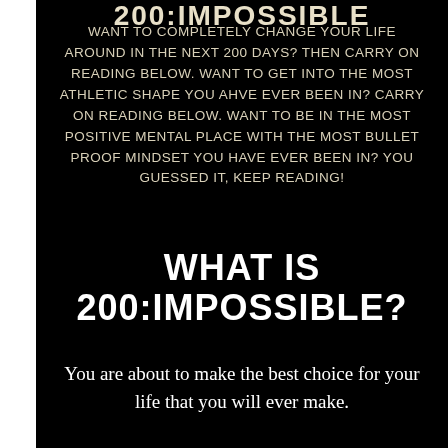200:IMPOSSIBLE
WANT TO COMPLETELY CHANGE YOUR LIFE AROUND IN THE NEXT 200 DAYS? THEN CARRY ON READING BELOW. WANT TO GET INTO THE MOST ATHLETIC SHAPE YOU AHVE EVER BEEN IN? CARRY ON READING BELOW. WANT TO BE IN THE MOST POSITIVE MENTAL PLACE WITH THE MOST BULLET PROOF MINDSET YOU HAVE EVER BEEN IN? YOU GUESSED IT, KEEP READING!
WHAT IS 200:IMPOSSIBLE?
You are about to make the best choice for your life that you will ever make.